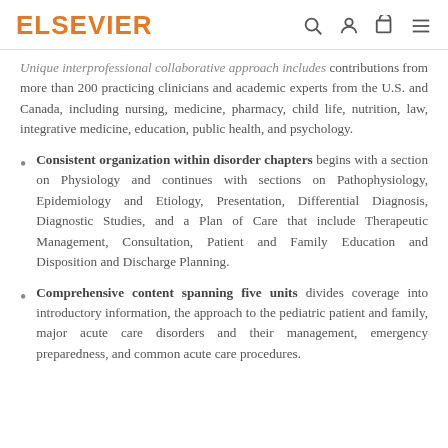ELSEVIER
Unique interprofessional collaborative approach includes contributions from more than 200 practicing clinicians and academic experts from the U.S. and Canada, including nursing, medicine, pharmacy, child life, nutrition, law, integrative medicine, education, public health, and psychology.
Consistent organization within disorder chapters begins with a section on Physiology and continues with sections on Pathophysiology, Epidemiology and Etiology, Presentation, Differential Diagnosis, Diagnostic Studies, and a Plan of Care that include Therapeutic Management, Consultation, Patient and Family Education and Disposition and Discharge Planning.
Comprehensive content spanning five units divides coverage into introductory information, the approach to the pediatric patient and family, major acute care disorders and their management, emergency preparedness, and common acute care procedures.